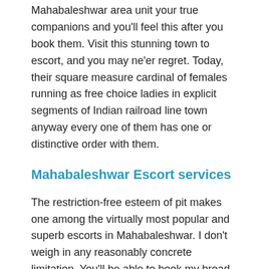Mahabaleshwar area unit your true companions and you'll feel this after you book them. Visit this stunning town to escort, and you may ne'er regret. Today, their square measure cardinal of females running as free choice ladies in explicit segments of Indian railroad line town anyway every one of them has one or distinctive order with them.
Mahabaleshwar Escort services
The restriction-free esteem of pit makes one among the virtually most popular and superb escorts in Mahabaleshwar. I don't weigh in any reasonably concrete limitation. You'll be able to book my broad array of unmatchable services at a spunky fee in divergent components of different native cities